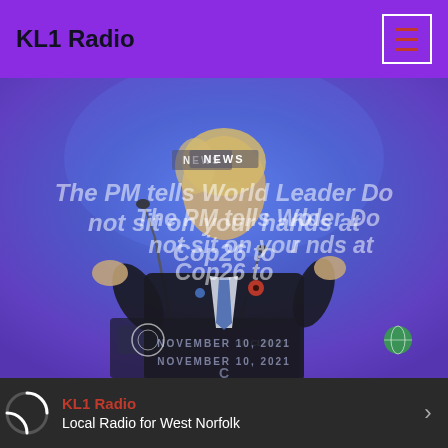KL1 Radio
[Figure (photo): Photo of a man in a dark suit with a red poppy badge speaking at a UN Climate podium with microphones, gesturing with both hands. Blue/purple background. Text overlaid: 'NEWS', 'The PM tells World Leader Do not sit on your hands at Cop26 to...', 'NOVEMBER 10, 2021', 'C...']
NEWS
The PM tells World Leader Do not sit on your hands at Cop26 to
NOVEMBER 10, 2021
KL1 Radio
Local Radio for West Norfolk